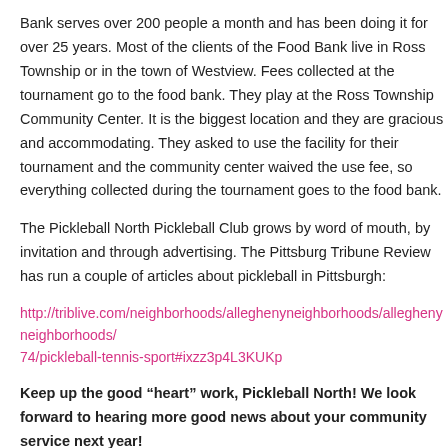Bank serves over 200 people a month and has been doing it for over 25 years. Most of the clients of the Food Bank live in Ross Township or in the town of Westview. Fees collected at the tournament go to the food bank.  They play at the Ross Township Community Center.  It is the biggest location and they are gracious and accommodating. They asked to use the facility for their tournament and the community center waived the use fee, so everything collected during the tournament goes to the food bank.
The Pickleball North Pickleball Club grows by word of mouth, by invitation and through advertising.  The Pittsburg Tribune Review has run a couple of articles about pickleball in Pittsburgh:
http://triblive.com/neighborhoods/alleghenyneighborhoods/alleghenyneighborhoods/74/pickleball-tennis-sport#ixzz3p4L3KUKp
Keep up the good “heart” work, Pickleball North!  We look forward to hearing more good news about your community service next year!